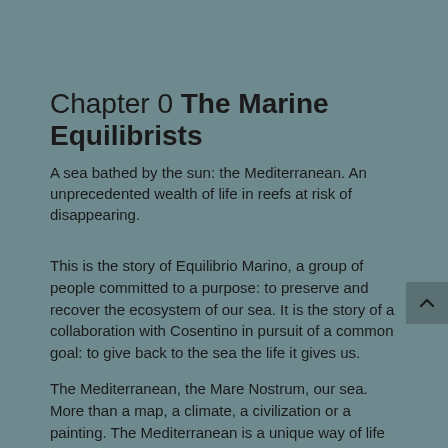Chapter 0 The Marine Equilibrists
A sea bathed by the sun: the Mediterranean. An unprecedented wealth of life in reefs at risk of disappearing.
This is the story of Equilibrio Marino, a group of people committed to a purpose: to preserve and recover the ecosystem of our sea. It is the story of a collaboration with Cosentino in pursuit of a common goal: to give back to the sea the life it gives us.
The Mediterranean, the Mare Nostrum, our sea. More than a map, a climate, a civilization or a painting. The Mediterranean is a unique way of life that involves living it in a special and intense way. A particular way of seeing, thinking and acting that has influenced the